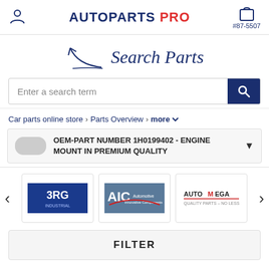AUTOPARTS PRO #87-5507
Search Parts
Enter a search term
Car parts online store > Parts Overview > more
OEM-PART NUMBER 1H0199402 - ENGINE MOUNT IN PREMIUM QUALITY
[Figure (logo): 3RG Industrial brand logo, blue background with stylized 'G']
[Figure (logo): AIC Automotive brand logo, red and black text on blue-grey background]
[Figure (logo): AUTO MEGA brand logo, black and red text]
FILTER